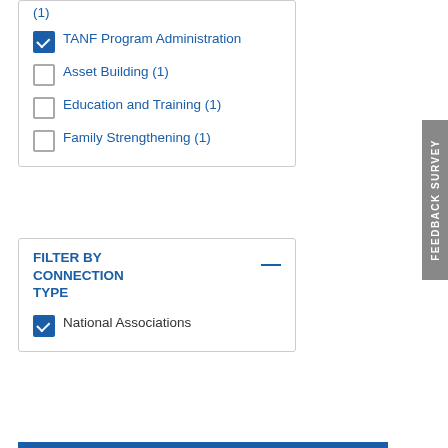(1) [partially shown at top]
✓ TANF Program Administration
☐ Asset Building (1)
☐ Education and Training (1)
☐ Family Strengthening (1)
FILTER BY CONNECTION TYPE
✓ National Associations